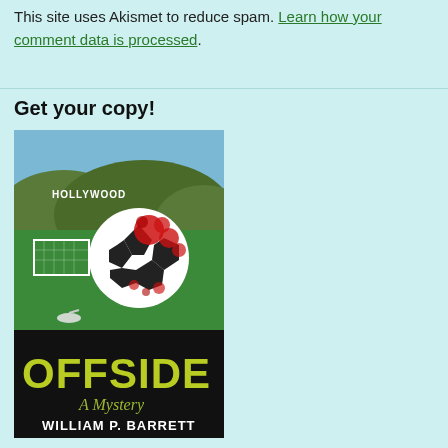This site uses Akismet to reduce spam. Learn how your comment data is processed.
Get your copy!
[Figure (photo): Book cover for 'Offside: A Mystery' by William P. Barrett. Shows a soccer ball splattered with red blood in front of a soccer goal, with the Hollywood sign on hills in the background. The title 'OFFSIDE' appears in large yellow-green letters at the bottom, with 'A Mystery' in cursive script and 'WILLIAM P. BARRETT' in white text below.]